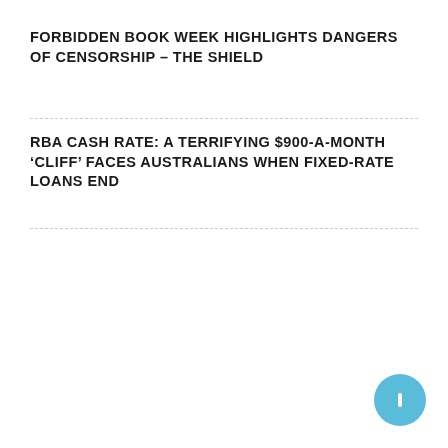FORBIDDEN BOOK WEEK HIGHLIGHTS DANGERS OF CENSORSHIP – THE SHIELD
RBA CASH RATE: A TERRIFYING $900-A-MONTH ‘CLIFF’ FACES AUSTRALIANS WHEN FIXED-RATE LOANS END